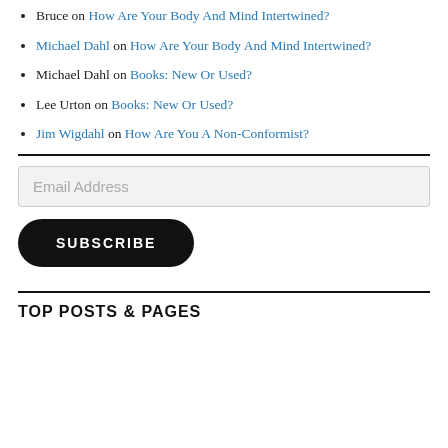Bruce on How Are Your Body And Mind Intertwined?
Michael Dahl on How Are Your Body And Mind Intertwined?
Michael Dahl on Books: New Or Used?
Lee Urton on Books: New Or Used?
Jim Wigdahl on How Are You A Non-Conformist?
Email Address
SUBSCRIBE
TOP POSTS & PAGES